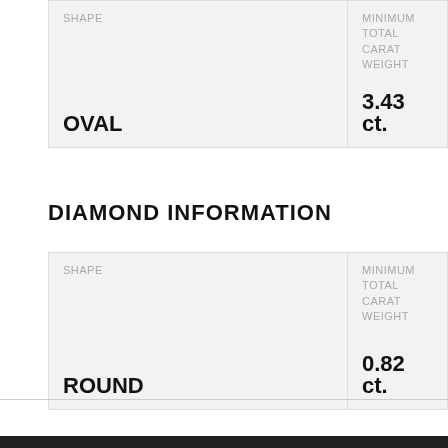| SHAPE | MINIMUM TOTAL CARAT WEIGHT |
| --- | --- |
| OVAL | 3.43 ct. |
DIAMOND INFORMATION
| SHAPE | MINIMUM TOTAL CARAT WEIGHT |
| --- | --- |
| ROUND | 0.82 ct. |